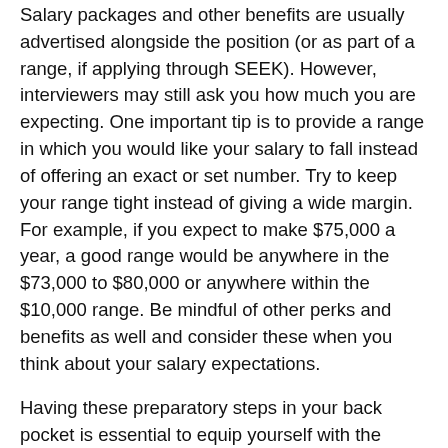Salary packages and other benefits are usually advertised alongside the position (or as part of a range, if applying through SEEK). However, interviewers may still ask you how much you are expecting. One important tip is to provide a range in which you would like your salary to fall instead of offering an exact or set number. Try to keep your range tight instead of giving a wide margin. For example, if you expect to make $75,000 a year, a good range would be anywhere in the $73,000 to $80,000 or anywhere within the $10,000 range. Be mindful of other perks and benefits as well and consider these when you think about your salary expectations.
Having these preparatory steps in your back pocket is essential to equip yourself with the readiness to face the toughest questions. Be confident, be self-assured, and be bold.